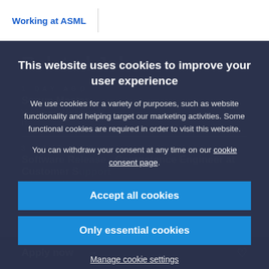Working at ASML
Related Jobs
1 DAY AGO
Scrum Master
Veldhoven, Netherlands
IT
3 DAYS AGO
Software Release - Competence Engineer at Customer Support
Veldhoven, Netherlands
Customer support
This website uses cookies to improve your user experience
We use cookies for a variety of purposes, such as website functionality and helping target our marketing activities. Some functional cookies are required in order to visit this website.
You can withdraw your consent at any time on our cookie consent page.
Accept all cookies
Only essential cookies
Manage cookie settings
Apply now →